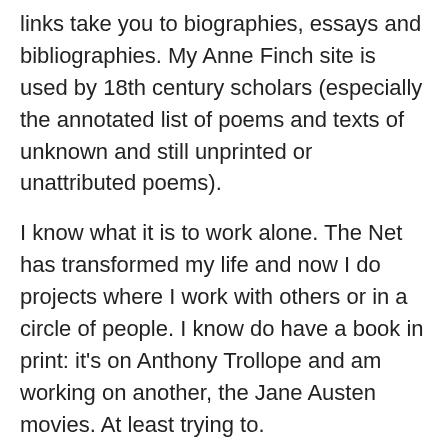links take you to biographies, essays and bibliographies. My Anne Finch site is used by 18th century scholars (especially the annotated list of poems and texts of unknown and still unprinted or unattributed poems).
I know what it is to work alone. The Net has transformed my life and now I do projects where I work with others or in a circle of people. I know do have a book in print: it's on Anthony Trollope and am working on another, the Jane Austen movies. At least trying to.
One place I find a great deal of sustenance on is Wompo, a women's poets list originally opened by Annie Finch. We often discuss there the narrow and limiting ideal of poetry, norms for it